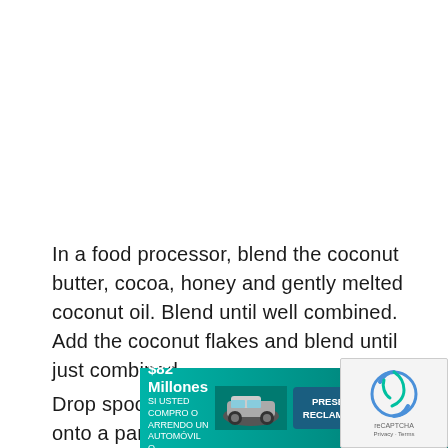In a food processor, blend the coconut butter, cocoa, honey and gently melted coconut oil. Blend until well combined. Add the coconut flakes and blend until just combined.
Drop spoonfuls (about 1/2 inch diameter) onto a parch... minut... ...tar
[Figure (other): Advertisement banner: 'Acuerdo de la demanda colectiva por $82 Millones' with car image and 'PRESENTE SU RECLAMO AHORA' button, overlaid with reCAPTCHA logo]